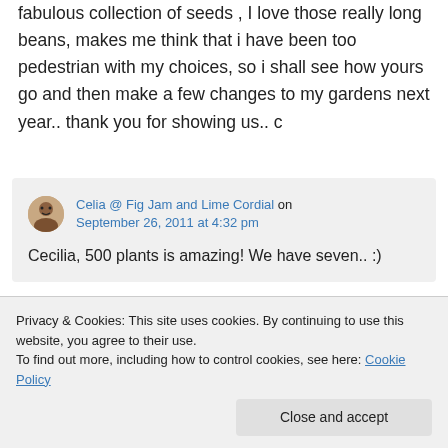fabulous collection of seeds , I love those really long beans, makes me think that i have been too pedestrian with my choices, so i shall see how yours go and then make a few changes to my gardens next year.. thank you for showing us.. c
Celia @ Fig Jam and Lime Cordial on September 26, 2011 at 4:32 pm
Cecilia, 500 plants is amazing! We have seven.. :)
Privacy & Cookies: This site uses cookies. By continuing to use this website, you agree to their use.
To find out more, including how to control cookies, see here: Cookie Policy
Close and accept